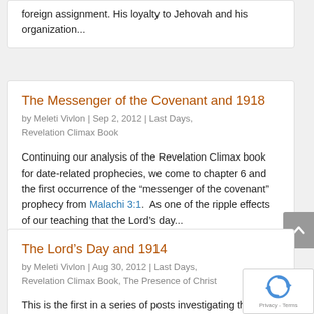foreign assignment.  His loyalty to Jehovah and his organization...
The Messenger of the Covenant and 1918
by Meleti Vivlon  |  Sep 2, 2012  |  Last Days, Revelation Climax Book
Continuing our analysis of the Revelation Climax book for date-related prophecies, we come to chapter 6 and the first occurrence of the “messenger of the covenant” prophecy from Malachi 3:1.  As one of the ripple effects of our teaching that the Lord’s day...
The Lord’s Day and 1914
by Meleti Vivlon  |  Aug 30, 2012  |  Last Days, Revelation Climax Book, The Presence of Christ
This is the first in a series of posts investigating the impact of removing 1914 as a factor in the